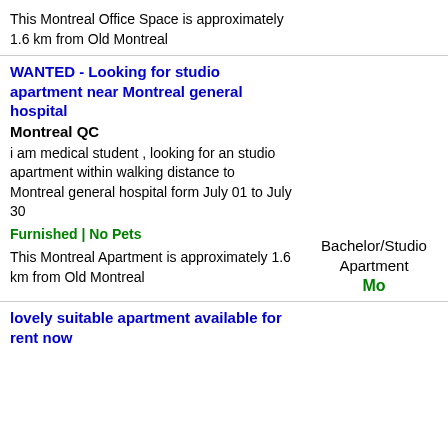This Montreal Office Space is approximately 1.6 km from Old Montreal
WANTED - Looking for studio apartment near Montreal general hospital
Montreal QC
i am medical student , looking for an studio apartment within walking distance to Montreal general hospital form July 01 to July 30
Furnished | No Pets
Bachelor/Studio Apartment
This Montreal Apartment is approximately 1.6 km from Old Montreal
lovely suitable apartment available for rent now